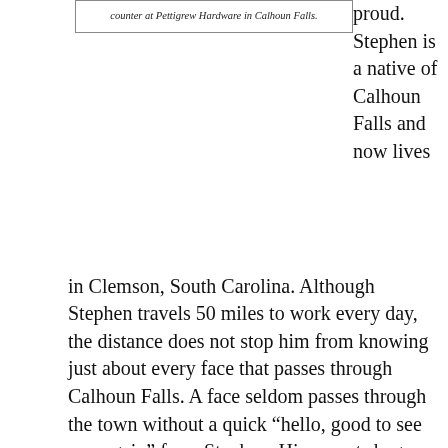counter at Pettigrew Hardware in Calhoun Falls.
proud. Stephen is a native of Calhoun Falls and now lives in Clemson, South Carolina. Although Stephen travels 50 miles to work every day, the distance does not stop him from knowing just about every face that passes through Calhoun Falls. A face seldom passes through the town without a quick “hello, good to see you again” from Stephen. His parents began Pettigrew Hardware and passed it on down to Stephen who now works with his own son. Stephen says that the best part about working in this store is that “It’s not routine,” and that he has the best customers. As far as the progress of the store, “We’ve kind of evolved as situations have changed,” Stephen stated. He said that one of his favorite aspects of running the shop is that it is a family association. “You know everybody and feel comfortable around them,” Pettigrew said regarding